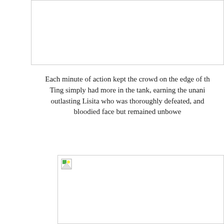[Figure (photo): Top image placeholder box, content not visible]
Each minute of action kept the crowd on the edge of th... Ting simply had more in the tank, earning the unani... outlasting Lisita who was thoroughly defeated, and... bloodied face but remained unbowe...
[Figure (photo): Bottom image placeholder box with broken image icon, content not visible]